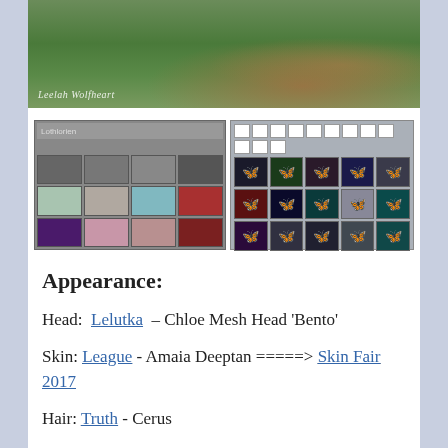[Figure (photo): Top portion of photo showing feet/legs on green grass background with watermark text 'Leelah Wolfheart']
[Figure (screenshot): Two product color swatch panels side by side - left panel shows fabric/material color options in gray, mint, teal, red, purple tones labeled 'Lothlorien'; right panel shows jewelry/accessory options in dark tones with decorative butterfly/wing motifs]
Appearance:
Head:  Lelutka  - Chloe Mesh Head 'Bento'
Skin: League - Amaia Deeptan =====> Skin Fair 2017
Hair: Truth - Cerus